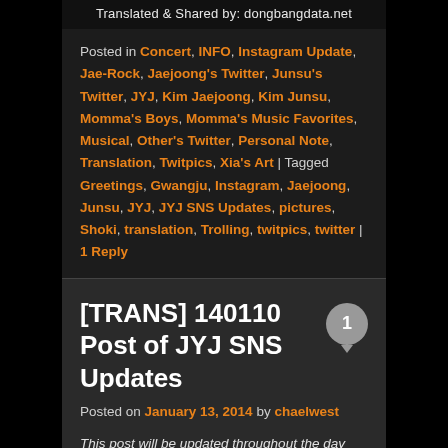Translated & Shared by: dongbangdata.net
Posted in Concert, INFO, Instagram Update, Jae-Rock, Jaejoong's Twitter, Junsu's Twitter, JYJ, Kim Jaejoong, Kim Junsu, Momma's Boys, Momma's Music Favorites, Musical, Other's Twitter, Personal Note, Translation, Twitpics, Xia's Art | Tagged Greetings, Gwangju, Instagram, Jaejoong, Junsu, JYJ, JYJ SNS Updates, pictures, Shoki, translation, Trolling, twitpics, twitter | 1 Reply
[TRANS] 140110 Post of JYJ SNS Updates
Posted on January 13, 2014 by chaelwest
This post will be updated throughout the day with Twitter, Naver LINE and Instagram updates by JYJ. A time will be added with each tweet, LINE message and Instagram update as our translators will not always be able to provide instant translations This post includes updates from 6am KST, January 10th to 5:59am KST, January